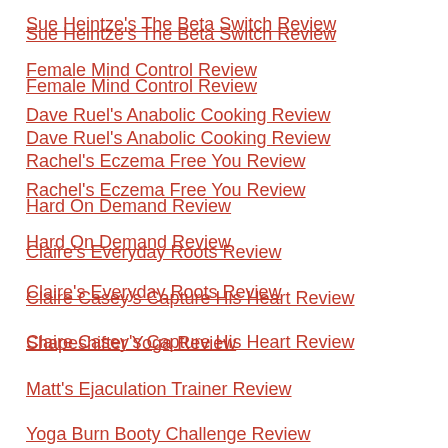Sue Heintze's The Beta Switch Review
Female Mind Control Review
Dave Ruel's Anabolic Cooking Review
Rachel's Eczema Free You Review
Hard On Demand Review
Claire's Everyday Roots Review
Claire Casey's Capture His Heart Review
Shapeshifter Yoga Review
Matt's Ejaculation Trainer Review
Yoga Burn Booty Challenge Review